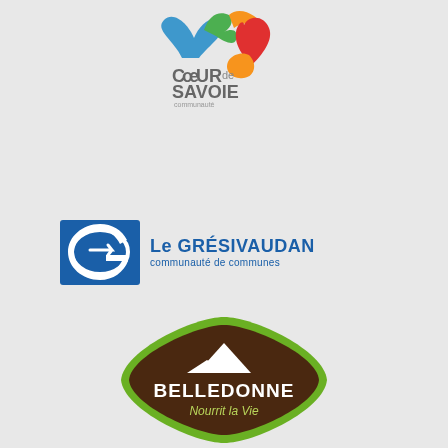[Figure (logo): Coeur de Savoie communauté de communes logo with colorful heart/bird shapes above text]
[Figure (logo): Le Grésivaudan communauté de communes logo with blue square icon and blue text]
[Figure (logo): Belledonne Nourrit la Vie logo — diamond shape with green border and brown background]